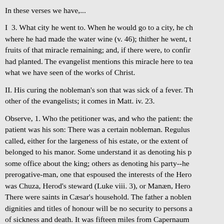In these verses we have,...
I  3. What city he went to. When he would go to a city, he chose Cana of Galilee, where he had made the water wine (v. 46); thither he went, to see if there were any fruits of that miracle remaining; and, if there were, to confirm the faith he there had planted. The evangelist mentions this miracle here to teach us to keep in mind what we have seen of the works of Christ.
II. His curing the nobleman's son that was sick of a fever. This miracle is recorded by no other of the evangelists; it comes in Matt. iv. 23.
Observe, 1. Who the petitioner was, and who the patient: the petitioner was a nobleman, the patient was his son: There was a certain nobleman. Regulus--a little king, so he might be called, either for the largeness of his estate, or the extent of his jurisdiction, or the villages that belonged to his manor. Some understand it as denoting his place at court, that he had some office about the king; others as denoting his party--he was a courtier, a royalist, a prerogative-man, one that espoused the interests of the Herod family; perhaps he was Chuza, Herod's steward (Luke viii. 3), or Manæn, Herod's foster-brother (Acts xiii. 1). There were saints in Cæsar's household. The father a nobleman, yet the son sick; dignities and titles of honour will be no security to persons and families against the arrests of sickness and death. It was fifteen miles from Capernaum (where the child lay sick) to Cana, where Christ now was; yet this affliction in his family
2. How the petitioner made his application to the physician. He heard that Jesus was come out of Judea to Galilee, and finding that he did not con...